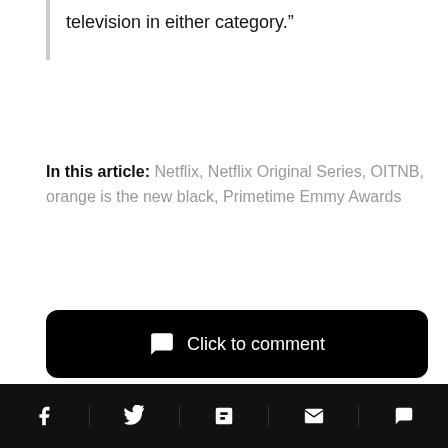television in either category.”
In this article: Netflix, Netflix Original Series, OITNB, orange is the new black, Primetime Emmy Awards
Click to comment
Social share icons: Facebook, Twitter, Flipboard, Email, Comment